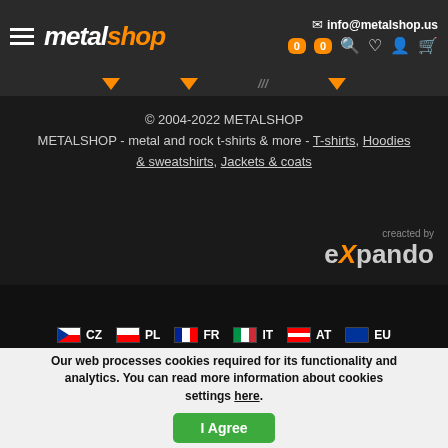info@metalshop.us — metalshop header with navigation icons
[Figure (screenshot): Arrow navigation strip with orange downward arrows and stylized text]
© 2004-2022 METALSHOP
METALSHOP - metal and rock t-shirts & more - T-shirts, Hoodies & sweatshirts, Jackets & coats
[Figure (logo): creacted by eXpando logo in bottom right]
[Figure (infographic): Country flags: CZ, PL, FR, IT, AT, EU, SK, DE, HR, HU, RO, SI]
Our web processes cookies required for its functionality and analytics. You can read more information about cookies settings here.